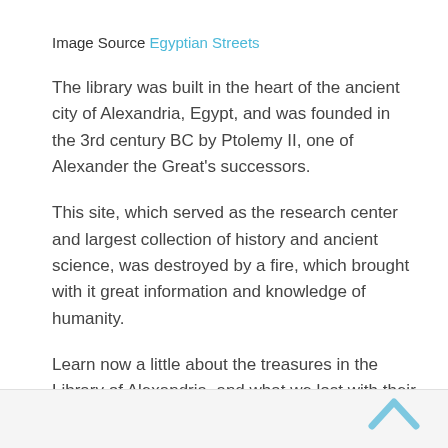Image Source Egyptian Streets
The library was built in the heart of the ancient city of Alexandria, Egypt, and was founded in the 3rd century BC by Ptolemy II, one of Alexander the Great's successors.
This site, which served as the research center and largest collection of history and ancient science, was destroyed by a fire, which brought with it great information and knowledge of humanity.
Learn now a little about the treasures in the Library of Alexandria, and what we lost with their destruction.
[Figure (other): Upward chevron/arrow icon in blue at bottom right corner]